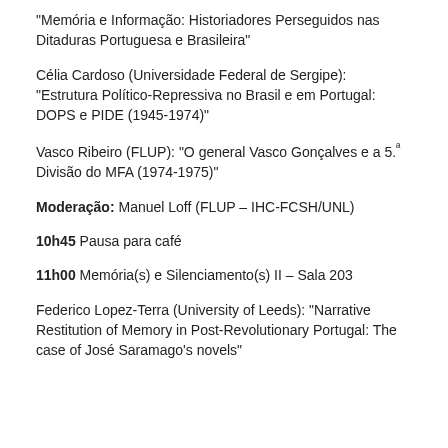“Memória e Informação: Historiadores Perseguidos nas Ditaduras Portuguesa e Brasileira”
Célia Cardoso (Universidade Federal de Sergipe): “Estrutura Político-Repressiva no Brasil e em Portugal: DOPS e PIDE (1945-1974)”
Vasco Ribeiro (FLUP): “O general Vasco Gonçalves e a 5.ª Divisão do MFA (1974-1975)”
Moderação: Manuel Loff (FLUP – IHC-FCSH/UNL)
10h45 Pausa para café
11h00 Memória(s) e Silenciamento(s) II – Sala 203
Federico Lopez-Terra (University of Leeds): “Narrative Restitution of Memory in Post-Revolutionary Portugal: The case of José Saramago’s novels”